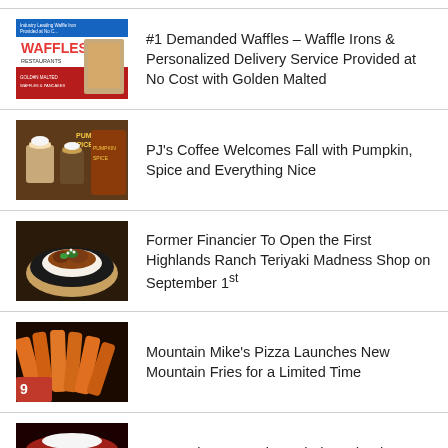#1 Demanded Waffles – Waffle Irons & Personalized Delivery Service Provided at No Cost with Golden Malted
PJ's Coffee Welcomes Fall with Pumpkin, Spice and Everything Nice
Former Financier To Open the First Highlands Ranch Teriyaki Madness Shop on September 1st
Mountain Mike's Pizza Launches New Mountain Fries for a Limited Time
Better Than Sex Gives Their Red Velvet Cheesecake a Seductive Makeover
Mo' Bettahs Promotes President Rob T...